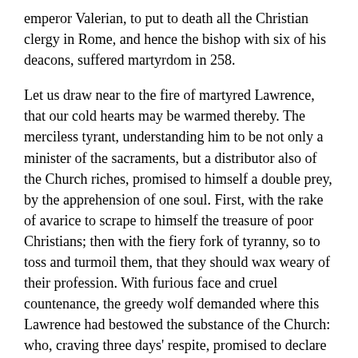emperor Valerian, to put to death all the Christian clergy in Rome, and hence the bishop with six of his deacons, suffered martyrdom in 258.
Let us draw near to the fire of martyred Lawrence, that our cold hearts may be warmed thereby. The merciless tyrant, understanding him to be not only a minister of the sacraments, but a distributor also of the Church riches, promised to himself a double prey, by the apprehension of one soul. First, with the rake of avarice to scrape to himself the treasure of poor Christians; then with the fiery fork of tyranny, so to toss and turmoil them, that they should wax weary of their profession. With furious face and cruel countenance, the greedy wolf demanded where this Lawrence had bestowed the substance of the Church: who, craving three days' respite, promised to declare where the treasure might be had. In the meantime, he caused a good number of poor Christians to be congregated. So, when the day of his answer was come, the persecutor strictly charged him to stand to his promise. Then valiant Lawrence, stretching out his arms over the poor, said: "These are the precious treasure of the Church; these are the treasure indeed, in whom the faith of Christ reigneth, in whom Jesus